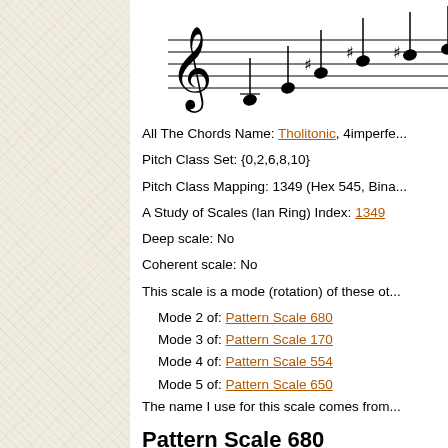[Figure (illustration): Musical staff notation showing a scale with sharps, treble clef visible]
All The Chords Name: Tholitonic, 4imperfe...
Pitch Class Set: {0,2,6,8,10}
Pitch Class Mapping: 1349 (Hex 545, Bina...
A Study of Scales (Ian Ring) Index: 1349
Deep scale: No
Coherent scale: No
This scale is a mode (rotation) of these ot...
Mode 2 of: Pattern Scale 680
Mode 3 of: Pattern Scale 170
Mode 4 of: Pattern Scale 554
Mode 5 of: Pattern Scale 650
The name I use for this scale comes from...
Pattern Scale 680